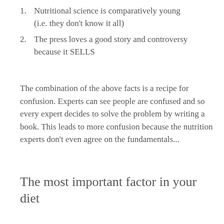1. Nutritional science is comparatively young (i.e. they don't know it all)
2. The press loves a good story and controversy because it SELLS
The combination of the above facts is a recipe for confusion. Experts can see people are confused and so every expert decides to solve the problem by writing a book. This leads to more confusion because the nutrition experts don't even agree on the fundamentals...
The most important factor in your diet